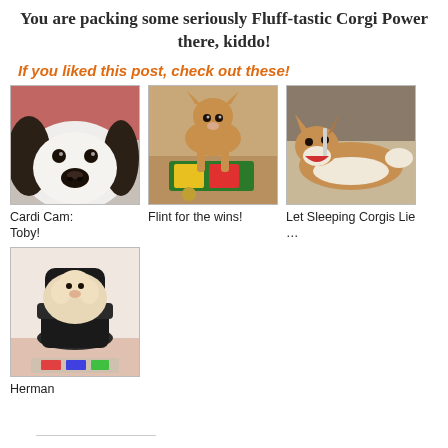You are packing some seriously Fluff-tastic Corgi Power there, kiddo!
If you liked this post, check out these!
[Figure (photo): Close-up photo of a dog (black and white, nose prominent) - Cardi Cam: Toby!]
Cardi Cam: Toby!
[Figure (photo): Photo of a corgi puppy standing near ribbons/medals on the floor - Flint for the wins!]
Flint for the wins!
[Figure (photo): Photo of a corgi lying on a couch with mouth open - Let Sleeping Corgis Lie …]
Let Sleeping Corgis Lie …
[Figure (photo): Photo of a fluffy dog sitting on a gaming chair - Herman]
Herman